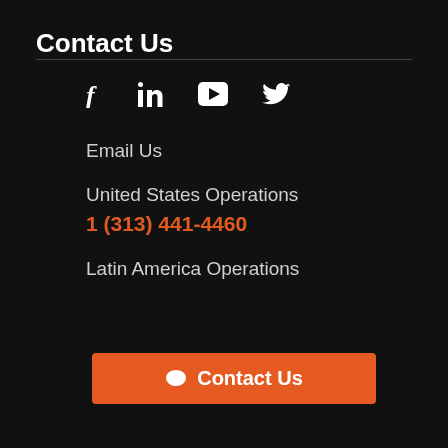Contact Us
[Figure (infographic): Social media icons: Facebook (f), LinkedIn (in), YouTube (play button), Twitter (bird)]
Email Us
United States Operations
1 (313) 441-4460
Latin America Operations
[Figure (other): Orange Contact Us button with chat bubble icon]